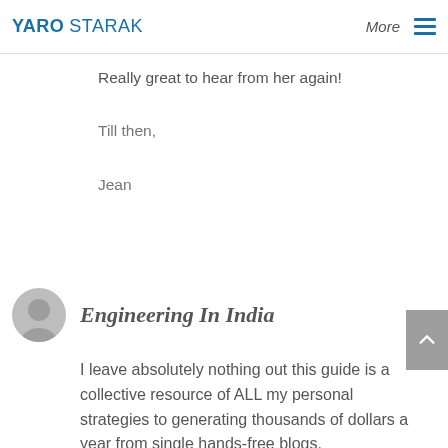YARO STARAK | More
Really great to hear from her again!
Till then,
Jean
Engineering In India
I leave absolutely nothing out this guide is a collective resource of ALL my personal strategies to generating thousands of dollars a year from single hands-free blogs.